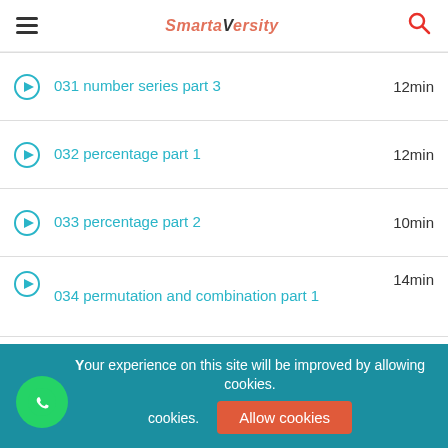SmartaVersity
031 number series part 3 — 12min
032 percentage part 1 — 12min
033 percentage part 2 — 10min
034 permutation and combination part 1 — 14min
035 permutation and combination part 2 — 36min
036 (partially visible) — 05min
Your experience on this site will be improved by allowing cookies.
Allow cookies